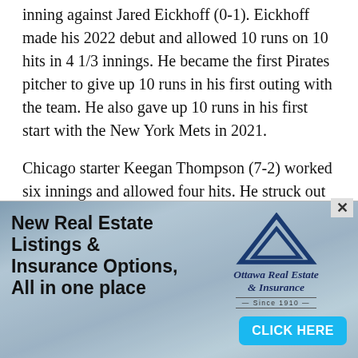inning against Jared Eickhoff (0-1). Eickhoff made his 2022 debut and allowed 10 runs on 10 hits in 4 1/3 innings. He became the first Pirates pitcher to give up 10 runs in his first outing with the team. He also gave up 10 runs in his first start with the New York Mets in 2021.
Chicago starter Keegan Thompson (7-2) worked six innings and allowed four hits. He struck out seven and gave up one run, a solo homer by Diego Castillo in the second. Castillo moved from second base to the mound in the ninth and gave up Rivas' slam.
[Figure (infographic): Advertisement for Ottawa Real Estate & Insurance. Left side shows bold text: 'New Real Estate Listings & Insurance Options, All in one place'. Center shows triangular logo mark (double triangle in blue). Right side shows 'Ottawa Real Estate & Insurance Since 1910' italic text. Bottom right has a cyan 'CLICK HERE' button. Background shows blurred photo of a house being held in hands.]